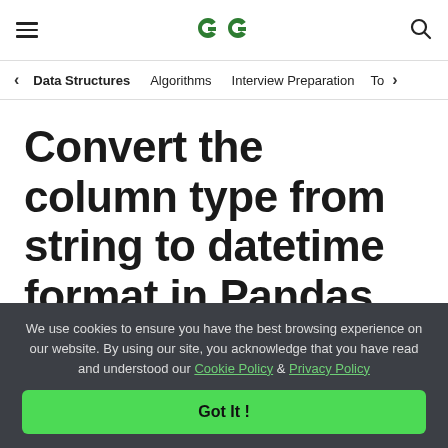GeeksforGeeks — hamburger menu, logo, search icon
< Data Structures   Algorithms   Interview Preparation   To>
Convert the column type from string to datetime format in Pandas dataframe
We use cookies to ensure you have the best browsing experience on our website. By using our site, you acknowledge that you have read and understood our Cookie Policy & Privacy Policy
Got It !